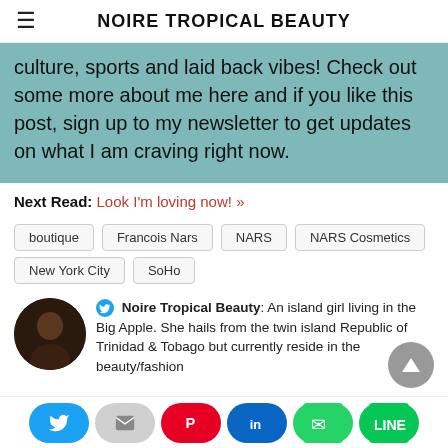NOIRE TROPICAL BEAUTY
culture, sports and laid back vibes! Check out some more about me here and if you like this post, sign up to my newsletter to get updates on what I am craving right now.
Next Read: Look I'm loving now! »
boutique
Francois Nars
NARS
NARS Cosmetics
New York City
SoHo
Noire Tropical Beauty: An island girl living in the Big Apple. She hails from the twin island Republic of Trinidad & Tobago but currently reside in the beauty/fashion